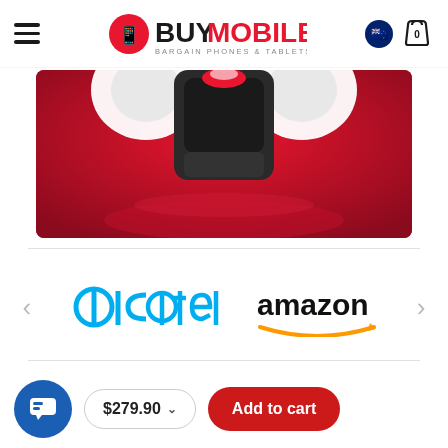[Figure (logo): BuyMobile - Bargain Phones & Tablets logo with red circle phone icon, NZ flag icon, and shopping bag icon with 0 count]
[Figure (photo): Product promotional banner with red background showing partial view of a white and black device (looks like earbuds/headphones case) on a red gradient background]
[Figure (logo): Alcatel logo in teal/blue color with circular 'a' and 'c' letters]
[Figure (logo): Amazon logo in black with orange arrow/smile underneath]
$279.90
Add to cart